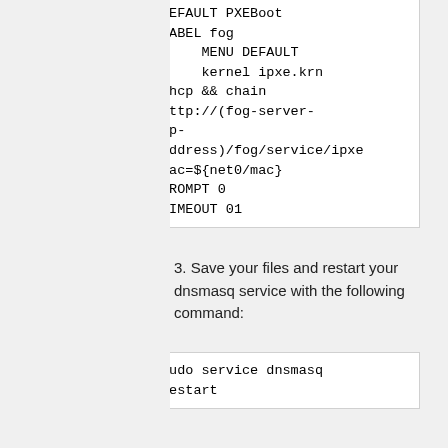DEFAULT PXEBoot
LABEL fog
    MENU DEFAULT
    kernel ipxe.krn
dhcp && chain http://(fog-server-ip-address)/fog/service/ipxe mac=${net0/mac}
PROMPT 0
TIMEOUT 01
3. Save your files and restart your dnsmasq service with the following command:
sudo service dnsmasq restart
Serving ProxyDHCP to multiple subnets